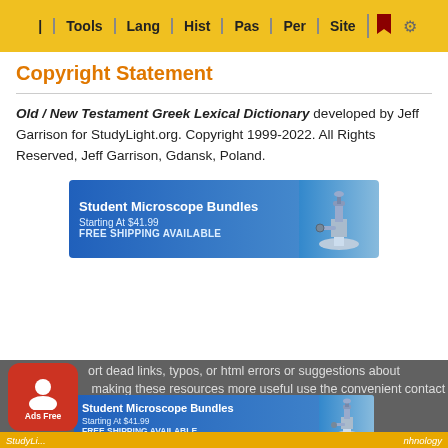Tools | Lang | Hist | Pas | Per | Site
Copyright Statement
Old / New Testament Greek Lexical Dictionary developed by Jeff Garrison for StudyLight.org. Copyright 1999-2022. All Rights Reserved, Jeff Garrison, Gdansk, Poland.
[Figure (screenshot): Student Microscope Bundles advertisement banner. Starting At $41.99. FREE SHIPPING AVAILABLE. Blue gradient background with microscope image on right.]
terms of use • privacy policy • rights and permissions • contact sl • about sl • link to sl
port dead links, typos, or html errors or suggestions about making these resources more useful use the convenient contact
[Figure (screenshot): Student Microscope Bundles advertisement banner. Starting At $41.99. FREE SHIPPING AVAILABLE. Blue gradient background with microscope image on right.]
StudyLi... nhnology